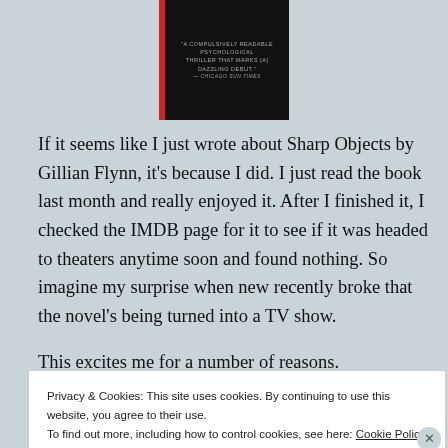[Figure (photo): Book cover of Sharp Objects, black background with red spine accent, featuring a quote: 'A compulsively readable psychological thriller that marks [a] dazzling debut.' — Chicago Sun Times]
If it seems like I just wrote about Sharp Objects by Gillian Flynn, it's because I did. I just read the book last month and really enjoyed it. After I finished it, I checked the IMDB page for it to see if it was headed to theaters anytime soon and found nothing. So imagine my surprise when new recently broke that the novel's being turned into a TV show.
This excites me for a number of reasons.
Privacy & Cookies: This site uses cookies. By continuing to use this website, you agree to their use.
To find out more, including how to control cookies, see here: Cookie Policy
Close and accept